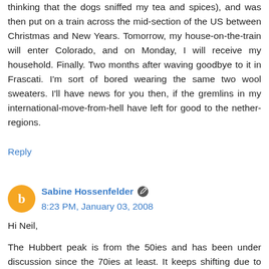thinking that the dogs sniffed my tea and spices), and was then put on a train across the mid-section of the US between Christmas and New Years. Tomorrow, my house-on-the-train will enter Colorado, and on Monday, I will receive my household. Finally. Two months after waving goodbye to it in Frascati. I'm sort of bored wearing the same two wool sweaters. I'll have news for you then, if the gremlins in my international-move-from-hell have left for good to the nether-regions.
Reply
Sabine Hossenfelder  8:23 PM, January 03, 2008
Hi Neil,

The Hubbert peak is from the 50ies and has been under discussion since the 70ies at least. It keeps shifting due to new found oil reservoirs, but I don't think anybody doubts it exists, and we either have already reached it, or it is pretty close. As I said above, the sad thing is that nothing of this discussion is actually new, yet people have postponed addressing the problem, maybe for too long.